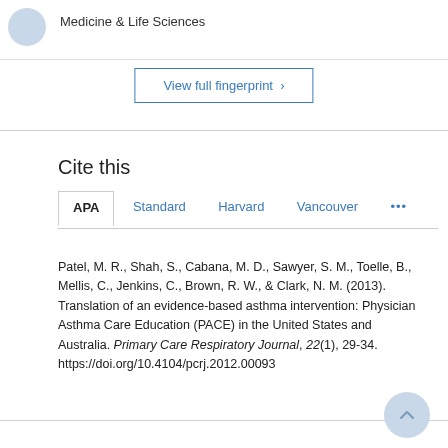Medicine & Life Sciences
View full fingerprint >
Cite this
APA  Standard  Harvard  Vancouver  ...
Patel, M. R., Shah, S., Cabana, M. D., Sawyer, S. M., Toelle, B., Mellis, C., Jenkins, C., Brown, R. W., & Clark, N. M. (2013). Translation of an evidence-based asthma intervention: Physician Asthma Care Education (PACE) in the United States and Australia. Primary Care Respiratory Journal, 22(1), 29-34. https://doi.org/10.4104/pcrj.2012.00093